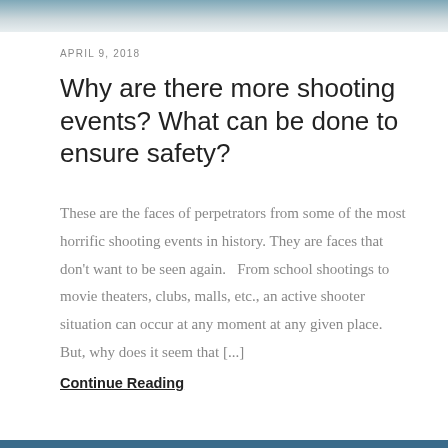APRIL 9, 2018
Why are there more shooting events? What can be done to ensure safety?
These are the faces of perpetrators from some of the most horrific shooting events in history. They are faces that don't want to be seen again.   From school shootings to movie theaters, clubs, malls, etc., an active shooter situation can occur at any moment at any given place. But, why does it seem that [...]
Continue Reading